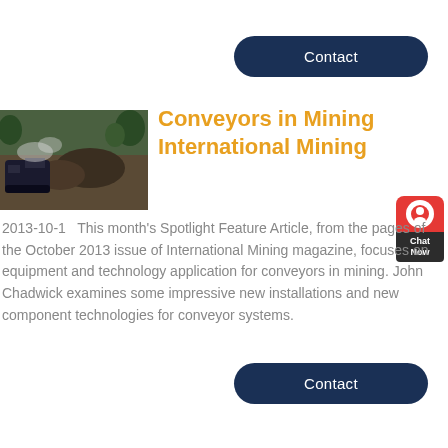[Figure (other): Dark navy rounded rectangle button with white text 'Contact' at top right]
[Figure (photo): Outdoor mining scene with heavy machinery and piles of earth/gravel, trees in background]
Conveyors in Mining International Mining
2013-10-1   This month's Spotlight Feature Article, from the pages of the October 2013 issue of International Mining magazine, focuses on equipment and technology application for conveyors in mining. John Chadwick examines some impressive new installations and new component technologies for conveyor systems.
[Figure (other): Red chat widget with headset icon and 'Chat Now' label]
[Figure (other): Dark navy rounded rectangle button with white text 'Contact' at bottom right]